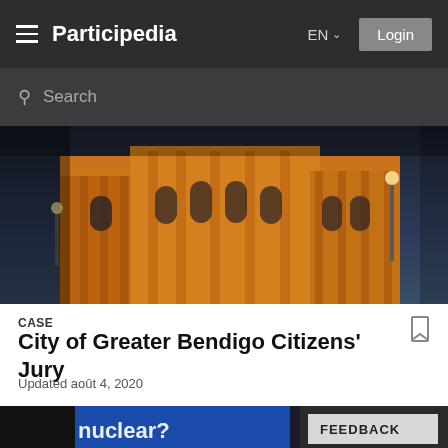Participedia  EN  Login
Search
[Figure (photo): Night photograph of a large illuminated neoclassical building (City of Greater Bendigo) bathed in golden light against a dark blue sky, with street lamps visible.]
CASE
City of Greater Bendigo Citizens' Jury
Updated août 4, 2020
[Figure (photo): Bottom portion of a second photo showing a screen displaying 'nuclear?' text in blue, partially visible at the bottom of the page. A 'FEEDBACK' button overlay appears at bottom right.]